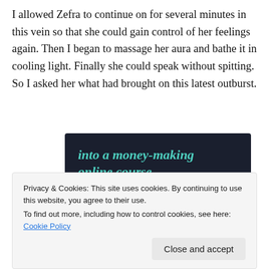I allowed Zefra to continue on for several minutes in this vein so that she could gain control of her feelings again. Then I began to massage her aura and bathe it in cooling light. Finally she could speak without spitting. So I asked her what had brought on this latest outburst.
[Figure (infographic): Dark background advertisement banner with teal italic text 'into a money-making online course.' and a teal 'Learn More' rounded button below.]
Privacy & Cookies: This site uses cookies. By continuing to use this website, you agree to their use.
To find out more, including how to control cookies, see here: Cookie Policy
Close and accept